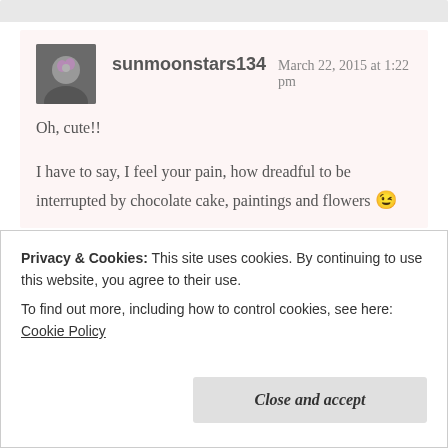sunmoonstars134   March 22, 2015 at 1:22 pm
Oh, cute!!

I have to say, I feel your pain, how dreadful to be interrupted by chocolate cake, paintings and flowers 😉

I'm on Pinterest with @crochetmagpie – mostly just a
Privacy & Cookies: This site uses cookies. By continuing to use this website, you agree to their use.
To find out more, including how to control cookies, see here: Cookie Policy
Close and accept